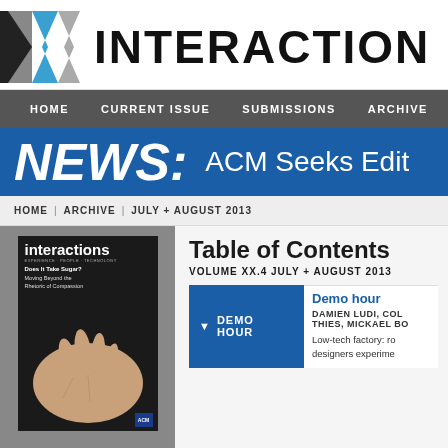[Figure (logo): Interactions magazine logo with X chevron icon in blue and gray, followed by 'INTERACTIONS' in black bold text]
HOME | CURRENT ISSUE | SUBMISSIONS | ARCHIVE
NEWS: ACM Seeks Edit
HOME | ARCHIVE | JULY + AUGUST 2013
Table of Contents
VOLUME XX.4 JULY + AUGUST 2013
[Figure (photo): Cover of interactions magazine Volume XX.4 July + August 2013 showing a hand with text 'Does It Take Sugar? Moving Beyond the Rhetoric of Compassion']
DEMO HOUR
Demo hour
DAMIEN LUDI, COL THIES, MICKAEL BO
Low-tech factory: ro
designers experime